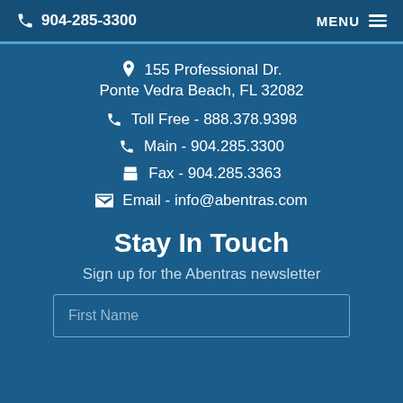904-285-3300   MENU
155 Professional Dr. Ponte Vedra Beach, FL 32082
Toll Free - 888.378.9398
Main - 904.285.3300
Fax - 904.285.3363
Email - info@abentras.com
Stay In Touch
Sign up for the Abentras newsletter
First Name